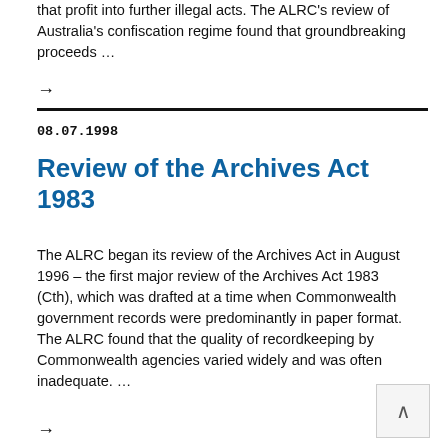that profit into further illegal acts. The ALRC's review of Australia's confiscation regime found that groundbreaking proceeds …
→
08.07.1998
Review of the Archives Act 1983
The ALRC began its review of the Archives Act in August 1996 – the first major review of the Archives Act 1983 (Cth), which was drafted at a time when Commonwealth government records were predominantly in paper format. The ALRC found that the quality of recordkeeping by Commonwealth agencies varied widely and was often inadequate. …
→